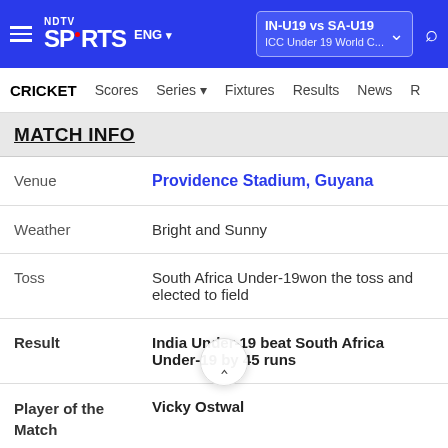NDTV Sports ENG | IN-U19 vs SA-U19 ICC Under 19 World C...
CRICKET | Scores | Series | Fixtures | Results | News
MATCH INFO
| Field | Value |
| --- | --- |
| Venue | Providence Stadium, Guyana |
| Weather | Bright and Sunny |
| Toss | South Africa Under-19won the toss and elected to field |
| Result | India Under-19 beat South Africa Under-19 by 45 runs |
| Player of the Match | Vicky Ostwal |
| Umpire | Buddhi Pradhan, Martin Saggers (ENG) and |